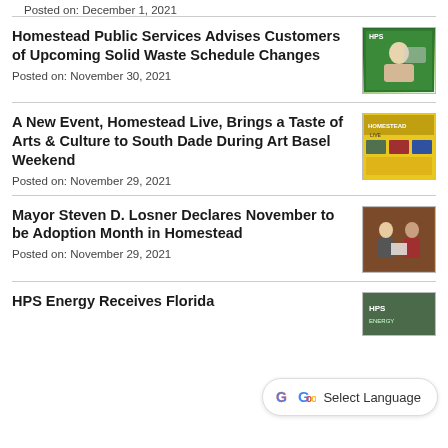Posted on: December 1, 2021
Homestead Public Services Advises Customers of Upcoming Solid Waste Schedule Changes
Posted on: November 30, 2021
[Figure (photo): Photo of a person near waste/recycling equipment with HPS logo]
A New Event, Homestead Live, Brings a Taste of Arts & Culture to South Dade During Art Basel Weekend
Posted on: November 29, 2021
[Figure (photo): Colorful event flyer/poster for Homestead Live arts event]
Mayor Steven D. Losner Declares November to be Adoption Month in Homestead
Posted on: November 29, 2021
[Figure (photo): Photo of people at an official ceremony or event]
HPS Energy Receives Florida
[Figure (photo): HPS Energy related photo]